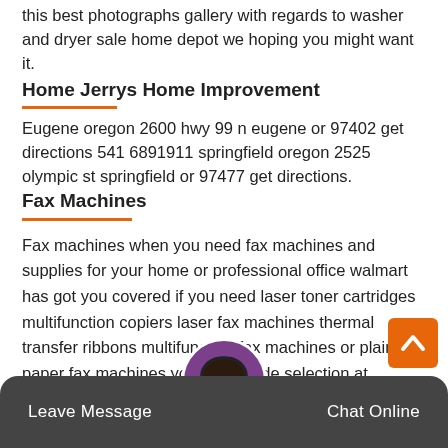this best photographs gallery with regards to washer and dryer sale home depot we hoping you might want it.
Home Jerrys Home Improvement
Eugene oregon 2600 hwy 99 n eugene or 97402 get directions 541 6891911 springfield oregon 2525 olympic st springfield or 97477 get directions.
Fax Machines
Fax machines when you need fax machines and supplies for your home or professional office walmart has got you covered if you need laser toner cartridges multifunction copiers laser fax machines thermal transfer ribbons multifunction fax machines or plain paper fax machines youll wide selection at walmart choose from to brands such as brother fax machines canon.
Leave Message  Chat Online